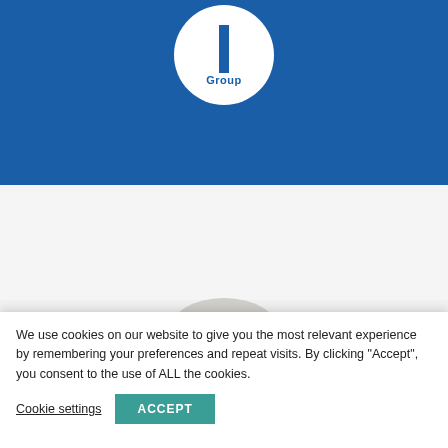[Figure (logo): Blue circular logo with white background, featuring a vertical blue bar and the word 'Group' in blue text, set against a blue header background]
[Figure (illustration): Partial view of an awards badge/medallion with text 'WARDS &' visible, shown in grey tones at the bottom of the white section]
We use cookies on our website to give you the most relevant experience by remembering your preferences and repeat visits. By clicking “Accept”, you consent to the use of ALL the cookies.
Cookie settings
ACCEPT